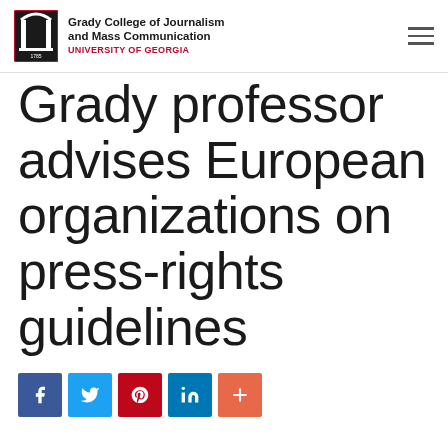Grady College of Journalism and Mass Communication — UNIVERSITY OF GEORGIA
Grady professor advises European organizations on press-rights guidelines
[Figure (other): Social sharing buttons: Facebook, Twitter, Pinterest, LinkedIn, More]